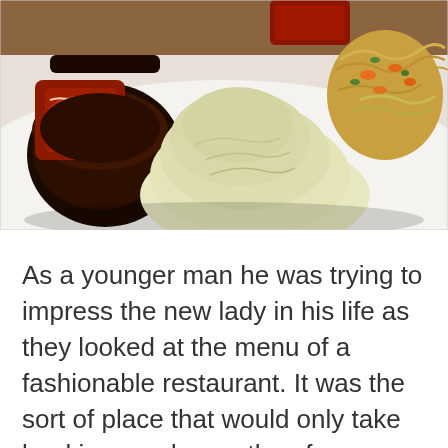[Figure (photo): Close-up photo of a plated restaurant meal featuring a thick cut of medium-rare beef steak on the left, a large mound of creamy mashed potatoes in the center, and a garnish of colorful vegetable salad with carrots and greens on the right, all on a white plate.]
As a younger man he was trying to impress the new lady in his life as they looked at the menu of a fashionable restaurant. It was the sort of place that would only take bookings and even then from regulars. Unperturbed Roberto and